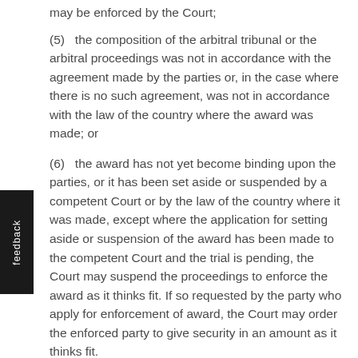may be enforced by the Court;
(5)   the composition of the arbitral tribunal or the arbitral proceedings was not in accordance with the agreement made by the parties or, in the case where there is no such agreement, was not in accordance with the law of the country where the award was made; or
(6)   the award has not yet become binding upon the parties, or it has been set aside or suspended by a competent Court or by the law of the country where it was made, except where the application for setting aside or suspension of the award has been made to the competent Court and the trial is pending, the Court may suspend the proceedings to enforce the award as it thinks fit. If so requested by the party who apply for enforcement of award, the Court may order the enforced party to give security in an amount as it thinks fit.